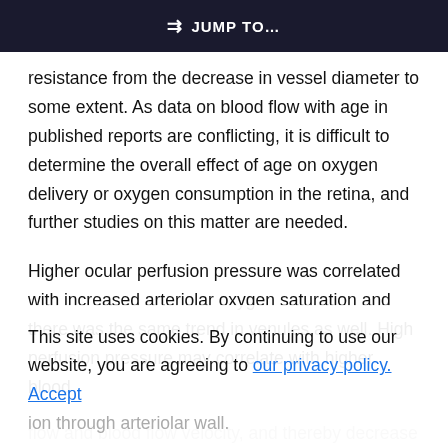⇒ JUMP TO…
resistance from the decrease in vessel diameter to some extent. As data on blood flow with age in published reports are conflicting, it is difficult to determine the overall effect of age on oxygen delivery or oxygen consumption in the retina, and further studies on this matter are needed.
Higher ocular perfusion pressure was correlated with increased arteriolar oxygen saturation and there was the same trend in venules as well. High perfusion pressure may correlate with higher blood flow and blood flow velocity, and thereby decrease the oxygen extraction fraction / transported by diffusion through arteriolar wall.
This site uses cookies. By continuing to use our website, you are agreeing to our privacy policy. Accept